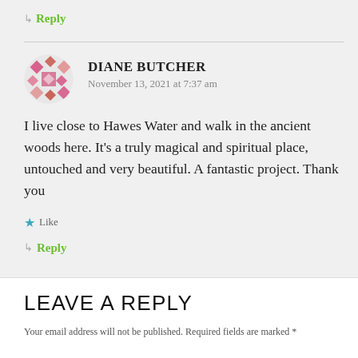↳ Reply
DIANE BUTCHER
November 13, 2021 at 7:37 am
I live close to Hawes Water and walk in the ancient woods here. It's a truly magical and spiritual place, untouched and very beautiful. A fantastic project. Thank you
★ Like
↳ Reply
LEAVE A REPLY
Your email address will not be published. Required fields are marked *